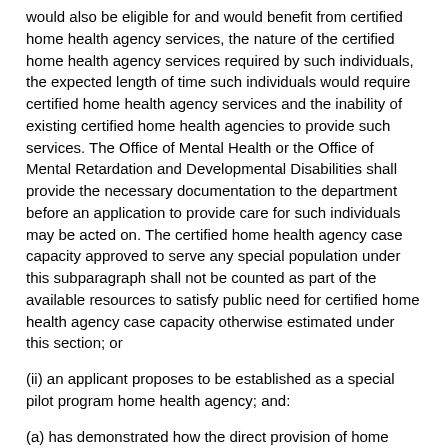would also be eligible for and would benefit from certified home health agency services, the nature of the certified home health agency services required by such individuals, the expected length of time such individuals would require certified home health agency services and the inability of existing certified home health agencies to provide such services. The Office of Mental Health or the Office of Mental Retardation and Developmental Disabilities shall provide the necessary documentation to the department before an application to provide care for such individuals may be acted on. The certified home health agency case capacity approved to serve any special population under this subparagraph shall not be counted as part of the available resources to satisfy public need for certified home health agency case capacity otherwise estimated under this section; or
(ii) an applicant proposes to be established as a special pilot program home health agency; and:
(a) has demonstrated how the direct provision of home health agency services by the applicant will improve continuity of care, access to services, cost effectiveness and efficiency;
(b) has identified and described a particular population group and any special needs of such group, and has estimated the number of